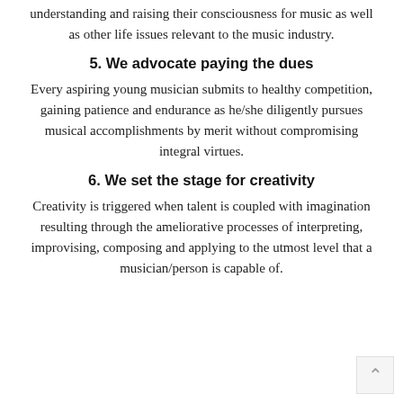understanding and raising their consciousness for music as well as other life issues relevant to the music industry.
5. We advocate paying the dues
Every aspiring young musician submits to healthy competition, gaining patience and endurance as he/she diligently pursues musical accomplishments by merit without compromising integral virtues.
6. We set the stage for creativity
Creativity is triggered when talent is coupled with imagination resulting through the ameliorative processes of interpreting, improvising, composing and applying to the utmost level that a musician/person is capable of.